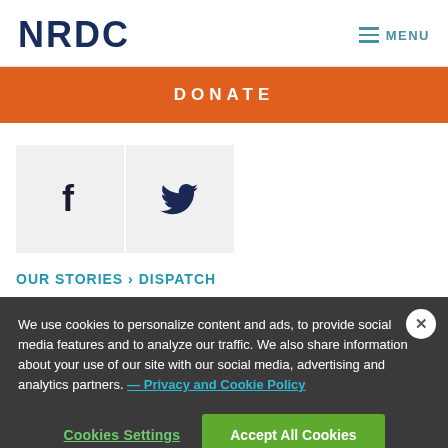NRDC   MENU
DONATE
[Figure (other): Facebook and Twitter social share icon buttons]
OUR STORIES › DISPATCH
We use cookies to personalize content and ads, to provide social media features and to analyze our traffic. We also share information about your use of our site with our social media, advertising and analytics partners. — Privacy and Cookie Policy
Cookies Settings   Accept All Cookies